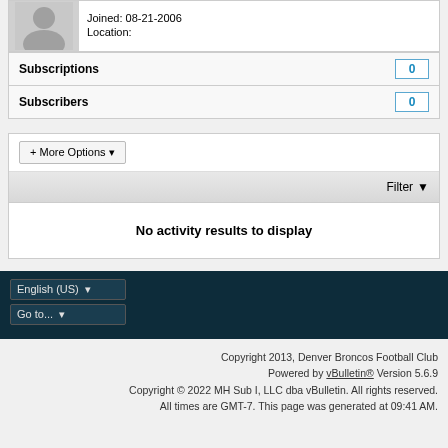[Figure (illustration): Default user avatar silhouette on gray background]
Joined: 08-21-2006
Location:
| Subscriptions | 0 |
| Subscribers | 0 |
+ More Options ▾
Filter ▼
No activity results to display
English (US) ▾
Go to... ▾
Copyright 2013, Denver Broncos Football Club
Powered by vBulletin® Version 5.6.9
Copyright © 2022 MH Sub I, LLC dba vBulletin. All rights reserved.
All times are GMT-7. This page was generated at 09:41 AM.